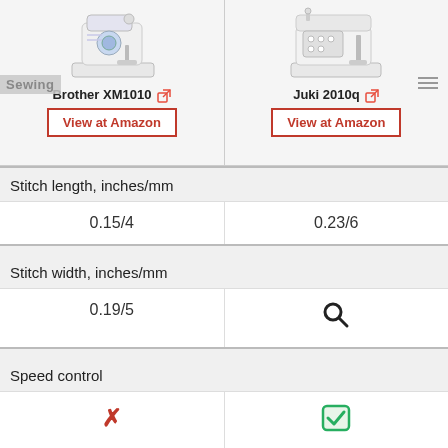[Figure (photo): Brother XM1010 sewing machine product photo, white with blue floral design]
[Figure (photo): Juki 2010q sewing machine product photo, white/grey industrial style]
Brother XM1010 🔗
Juki 2010q 🔗
View at Amazon
View at Amazon
|  | Brother XM1010 | Juki 2010q |
| --- | --- | --- |
| Stitch length, inches/mm | 0.15/4 | 0.23/6 |
| Stitch width, inches/mm | 0.19/5 | 🔍 |
| Speed control | ✗ | ✓ |
| Max. stitches per minute |  |  |